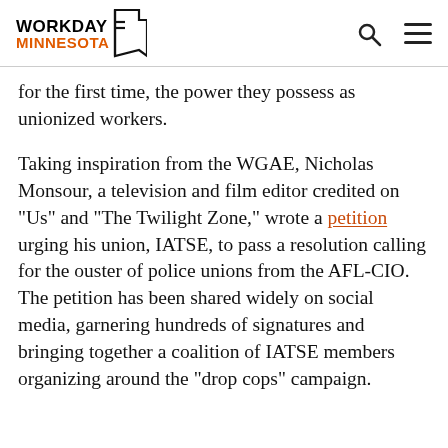WORKDAY MINNESOTA
for the first time, the power they possess as unionized workers.
Taking inspiration from the WGAE, Nicholas Monsour, a television and film editor credited on “Us” and “The Twilight Zone,” wrote a petition urging his union, IATSE, to pass a resolution calling for the ouster of police unions from the AFL-CIO. The petition has been shared widely on social media, garnering hundreds of signatures and bringing together a coalition of IATSE members organizing around the “drop cops” campaign.